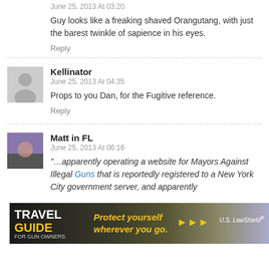June 25, 2013 At 03:20
Guy looks like a freaking shaved Orangutang, with just the barest twinkle of sapience in his eyes.
Reply
Kellinator
June 25, 2013 At 04:35
Props to you Dan, for the Fugitive reference.
Reply
Matt in FL
June 25, 2013 At 06:16
“…apparently operating a website for Mayors Against Illegal Guns that is reportedly registered to a New York City government server, and apparently
[Figure (other): Advertisement banner: Travel Guide for Gun Owners - Protect yourself wherever you go. US LawShield logo.]